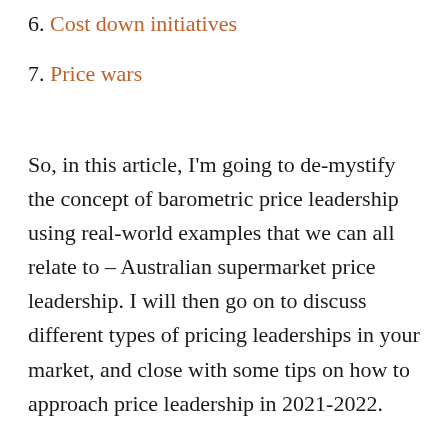6. Cost down initiatives
7. Price wars
So, in this article, I'm going to de-mystify the concept of barometric price leadership using real-world examples that we can all relate to – Australian supermarket price leadership. I will then go on to discuss different types of pricing leaderships in your market, and close with some tips on how to approach price leadership in 2021-2022.